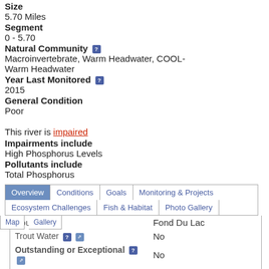Size
5.70 Miles
Segment
0 - 5.70
Natural Community
Macroinvertebrate, Warm Headwater, COOL-Warm Headwater
Year Last Monitored
2015
General Condition
Poor
This river is impaired
Impairments include
High Phosphorus Levels
Pollutants include
Total Phosphorus
|  | Overview | Conditions | Goals | Monitoring & Projects |
| --- | --- | --- | --- | --- |
|  | Ecosystem Challenges | Fish & Habitat | Photo Gallery |  |
| County |  |  |  | Fond Du Lac |
| Trout Water |  |  |  | No |
| Outstanding or Exceptional |  |  |  | No |
| Impaired Water |  |  |  | Yes |